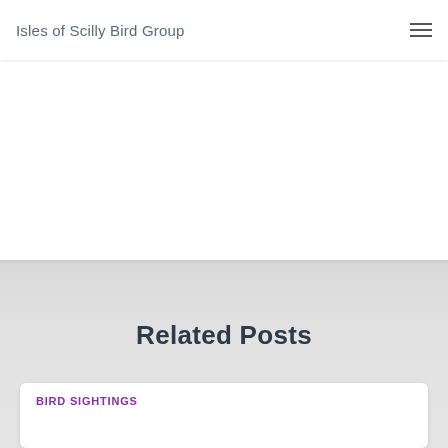Isles of Scilly Bird Group
Comments feed
WordPress.org
Related Posts
BIRD SIGHTINGS